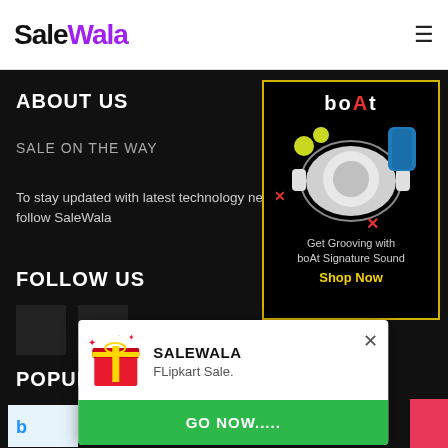SaleWala
ABOUT US
SALE ON THE WAY
To stay updated with latest technology news & gad follow SaleWala
[Figure (illustration): boAt audio brand advertisement showing headphones and speaker with text 'Get Grooving with boAt Signature Sound Shop Now']
FOLLOW US
[Figure (illustration): Social media icons: dark square and Facebook 'f' icon]
POPULAR P
[Figure (illustration): Notification popup showing SALEWALA with gift box icon, text 'FLipkart Sale.' and green 'GO NOW.....' button]
[Freebie] Get Free Contact Lenses From